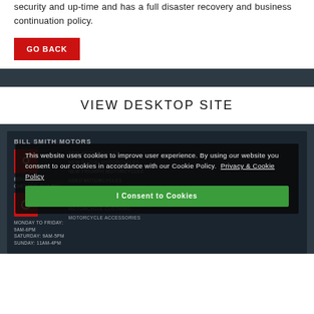Bags Pay operates on twin data centres to ensure optimal system security and up-time and has a full disaster recovery and business continuation policy.
GO BACK
VIEW DESKTOP SITE
BILL SMITH MOTORS
This website uses cookies to improve user experience. By using our website you consent to our cookies in accordance with our Cookie Policy. Privacy & Cookie Policy
I Consent to Cookies